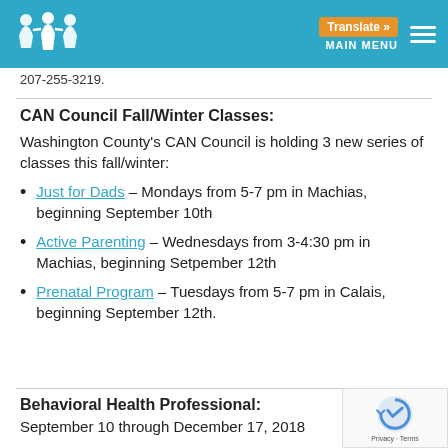MAIN MENU  Translate »
207-255-3219.
CAN Council Fall/Winter Classes:
Washington County's CAN Council is holding 3 new series of classes this fall/winter:
Just for Dads – Mondays from 5-7 pm in Machias, beginning September 10th
Active Parenting – Wednesdays from 3-4:30 pm in Machias, beginning Setpember 12th
Prenatal Program – Tuesdays from 5-7 pm in Calais, beginning September 12th.
Behavioral Health Professional:
September 10 through December 17, 2018